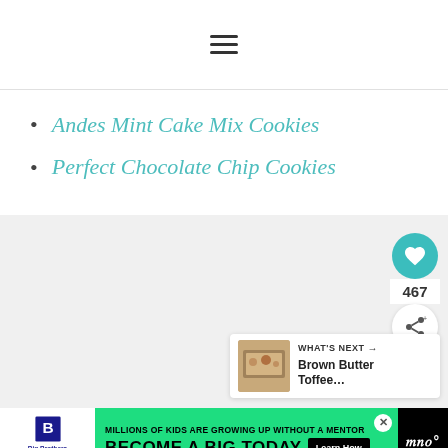[hamburger menu icon]
Andes Mint Cake Mix Cookies
Perfect Chocolate Chip Cookies
[Figure (other): Gray content area with social interaction buttons (heart/like button with count 467, share button) and a 'What's Next' card showing Brown Butter Toffee... preview]
[Figure (other): Advertisement banner: Big Brothers Big Sisters - Millions of Kids are Growing Up Without a Mentor - Become a Big Today]